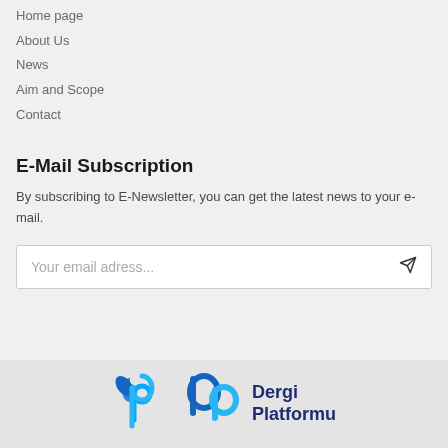Home page
About Us
News
Aim and Scope
Contact
E-Mail Subscription
By subscribing to E-Newsletter, you can get the latest news to your e-mail.
Your email adress...
[Figure (logo): Dergi Platformu logo with stylized 'dp' mark in blue and the text 'Dergi Platformu' in dark navy blue]